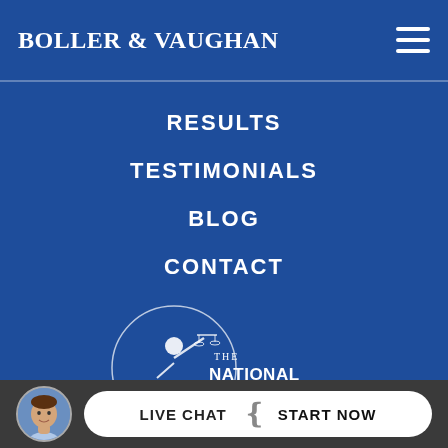BOLLER & VAUGHAN
PRACTICE AREAS
ATTORNEYS
RESULTS
TESTIMONIALS
BLOG
CONTACT
[Figure (logo): The National Trial Lawyers – Top 100 Trial Lawyers logo with Lady Justice figure in white on blue background]
LIVE CHAT  START NOW